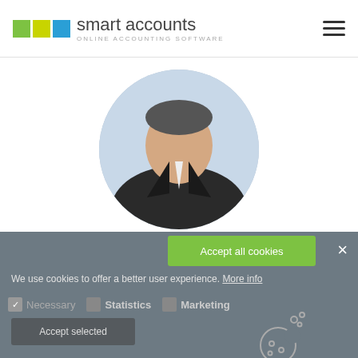[Figure (logo): Smart Accounts logo with three colored squares (green, yellow, blue) and text 'smart accounts ONLINE ACCOUNTING SOFTWARE']
[Figure (photo): Circular cropped photo of a businessman in a dark suit and tie]
[Figure (logo): NordFinance Accounting logo with geometric icon and text 'NORDFINANCE ACCOUNTING']
Accept all cookies
We use cookies to offer a better user experience. More info
Necessary   Statistics   Marketing
Accept selected